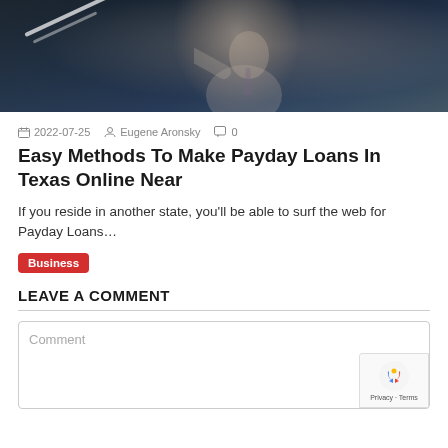[Figure (photo): A man in a suit writing or pointing at something in the foreground, dark blue background, partial silhouette with white light streaks suggesting a marker or pen.]
2022-07-25   Eugene Aronsky   0
Easy Methods To Make Payday Loans In Texas Online Near
If you reside in another state, you'll be able to surf the web for Payday Loans…
Business
LEAVE A COMMENT
Comment